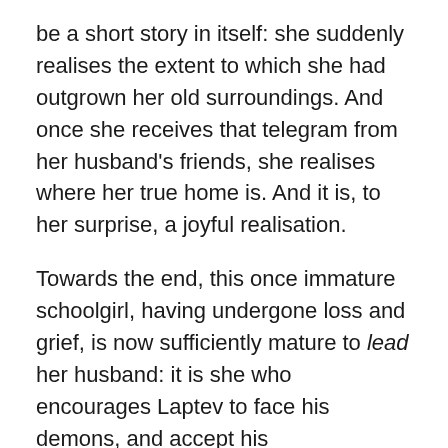be a short story in itself: she suddenly realises the extent to which she had outgrown her old surroundings. And once she receives that telegram from her husband's friends, she realises where her true home is. And it is, to her surprise, a joyful realisation.
Towards the end, this once immature schoolgirl, having undergone loss and grief, is now sufficiently mature to lead her husband: it is she who encourages Laptev to face his demons, and accept his responsibilities; it is she who re-establishes relations with her difficult father-in-law.
Although Yulia and Laptev are at the centre of this novel, it is, nonetheless, an ensemble piece. Each of its many characters is individually characterised, whether they are Gogolian grotesques like Yulia's father or the various